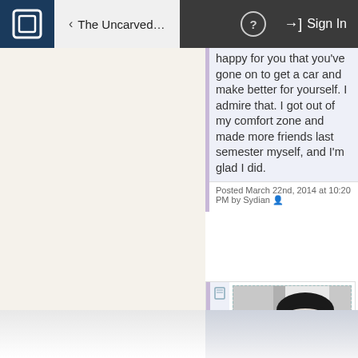< The Uncarved...   ?   Sign In
happy for you that you've gone on to get a car and make better for yourself. I admire that. I got out of my comfort zone and made more friends last semester myself, and I'm glad I did.
Posted March 22nd, 2014 at 10:20 PM by Sydian
[Figure (photo): A black and white animated character (appears to be from an animated film) looking upward with large eyes, dark hair, against a light background. Shown inside a dashed border frame with a small avatar icon to the left.]